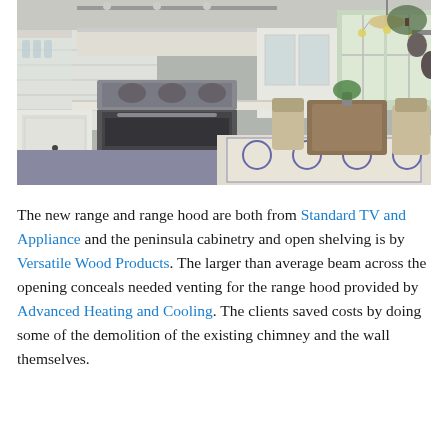[Figure (photo): Interior photo of a modern kitchen with white cabinetry, stainless steel range on a peninsula island, open shelving, a chandelier, large windows, dining table with chairs, and a patterned area rug.]
The new range and range hood are both from Standard TV and Appliance and the peninsula cabinetry and open shelving is by Versatile Wood Products. The larger than average beam across the opening conceals needed venting for the range hood provided by Advanced Heating and Cooling. The clients saved costs by doing some of the demolition of the existing chimney and the wall themselves.